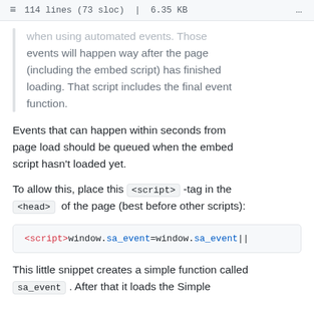≡  114 lines (73 sloc)  |  6.35 KB  ...
when using automated events. Those events will happen way after the page (including the embed script) has finished loading. That script includes the final event function.
Events that can happen within seconds from page load should be queued when the embed script hasn't loaded yet.
To allow this, place this <script> -tag in the <head> of the page (best before other scripts):
<script>window.sa_event=window.sa_event||
This little snippet creates a simple function called sa_event . After that it loads the Simple